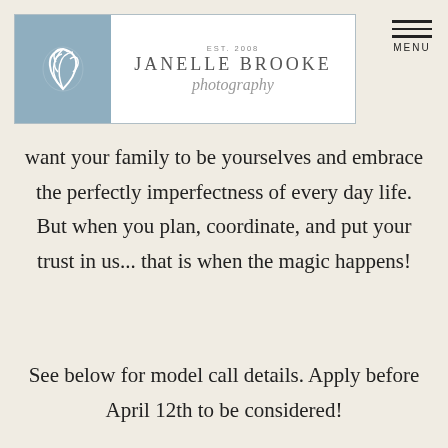[Figure (logo): Janelle Brooke Photography logo with blue square containing a floral/leaf emblem, text 'EST. 2008', 'JANELLE BROOKE', and italic script 'photography']
[Figure (other): Three horizontal lines stacked with the word MENU below, serving as a navigation menu icon]
want your family to be yourselves and embrace the perfectly imperfectness of every day life. But when you plan, coordinate, and put your trust in us... that is when the magic happens!
See below for model call details. Apply before April 12th to be considered!